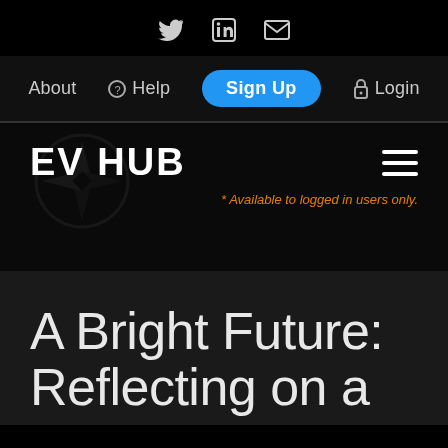Twitter | LinkedIn | Email (social icons)
About | Help | Sign Up | Login (navigation)
EV HUB
* Available to logged in users only.
A Bright Future: Reflecting on a